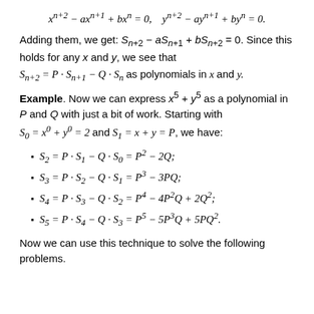Adding them, we get: S_{n+2} - aS_{n+1} + bS_{n+2} = 0. Since this holds for any x and y, we see that
Example. Now we can express x^5 + y^5 as a polynomial in P and Q with just a bit of work. Starting with
S_2 = P · S_1 − Q · S_0 = P² − 2Q;
S_3 = P · S_2 − Q · S_1 = P³ − 3PQ;
S_4 = P · S_3 − Q · S_2 = P⁴ − 4P²Q + 2Q²;
S_5 = P · S_4 − Q · S_3 = P⁵ − 5P³Q + 5PQ².
Now we can use this technique to solve the following problems.